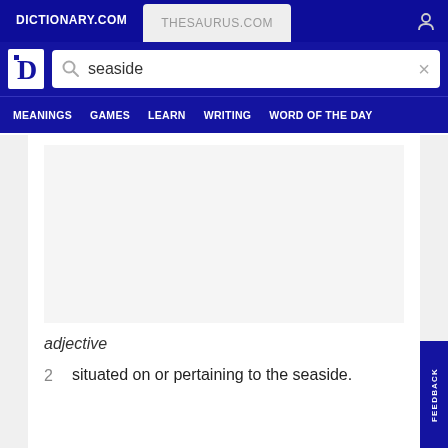DICTIONARY.COM | THESAURUS.COM
[Figure (screenshot): Dictionary.com website header with search bar showing 'seaside' and navigation menu with MEANINGS, GAMES, LEARN, WRITING, WORD OF THE DAY]
adjective
2 situated on or pertaining to the seaside.